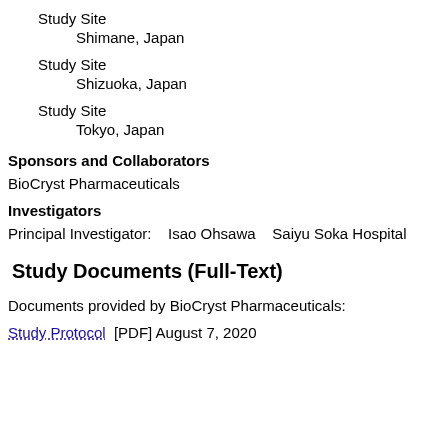Study Site
    Shimane, Japan
Study Site
    Shizuoka, Japan
Study Site
    Tokyo, Japan
Sponsors and Collaborators
BioCryst Pharmaceuticals
Investigators
Principal Investigator:    Isao Ohsawa    Saiyu Soka Hospital
Study Documents (Full-Text)
Documents provided by BioCryst Pharmaceuticals:
Study Protocol  [PDF] August 7, 2020